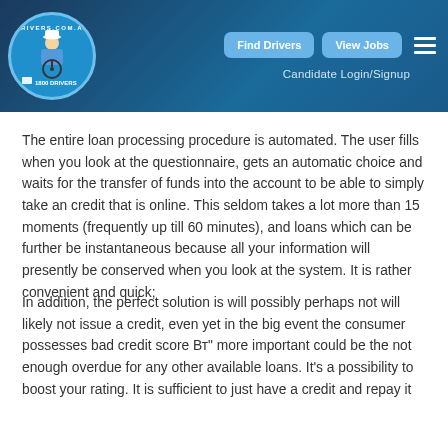drivers.com.au — Find Drivers | View Jobs | Candidate Login/Signup
The entire loan processing procedure is automated. The user fills when you look at the questionnaire, gets an automatic choice and waits for the transfer of funds into the account to be able to simply take an credit that is online. This seldom takes a lot more than 15 moments (frequently up till 60 minutes), and loans which can be further be instantaneous because all your information will presently be conserved when you look at the system. It is rather convenient and quick;
In addition, the perfect solution is will possibly perhaps not will likely not issue a credit, even yet in the big event the consumer possesses bad credit score Bвh" more important could be the not enough overdue for any other available loans. It's a possibility to boost your rating. It is sufficient to just have a credit and repay it